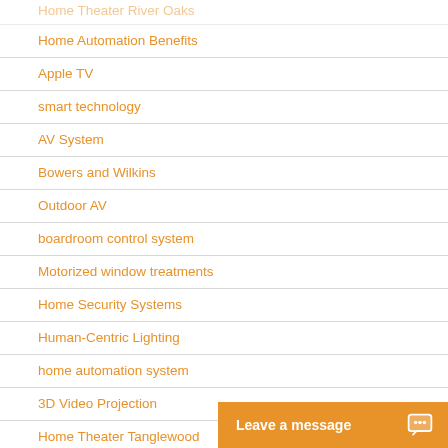Home Theater River Oaks
Home Automation Benefits
Apple TV
smart technology
AV System
Bowers and Wilkins
Outdoor AV
boardroom control system
Motorized window treatments
Home Security Systems
Human-Centric Lighting
home automation system
3D Video Projection
Home Theater Tanglewood
Lutron HomeWorks
home lighting control